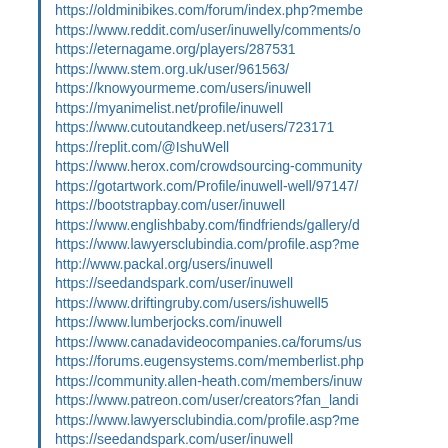https://oldminibikes.com/forum/index.php?membe
https://www.reddit.com/user/inuwelly/comments/o
https://eternagame.org/players/287531
https://www.stem.org.uk/user/961563/
https://knowyourmeme.com/users/inuwell
https://myanimelist.net/profile/inuwell
https://www.cutoutandkeep.net/users/723171
https://replit.com/@IshuWell
https://www.herox.com/crowdsourcing-community
https://gotartwork.com/Profile/inuwell-well/97147/
https://bootstrapbay.com/user/inuwell
https://www.englishbaby.com/findfriends/gallery/d
https://www.lawyersclubindia.com/profile.asp?me
http://www.packal.org/users/inuwell
https://seedandspark.com/user/inuwell
https://www.driftingruby.com/users/ishuwell5
https://www.lumberjocks.com/inuwell
https://www.canadavideocompanies.ca/forums/us
https://forums.eugensystems.com/memberlist.php
https://community.allen-heath.com/members/inuw
https://www.patreon.com/user/creators?fan_landi
https://www.lawyersclubindia.com/profile.asp?me
https://seedandspark.com/user/inuwell
http://dev.buyandsellph.com/item/36787/free-mult
https://sweek.com/profile/1703388/74088